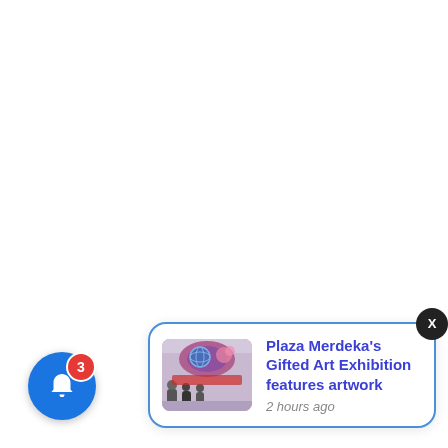[Figure (screenshot): Mobile app notification UI showing a blue circular bell icon button with a red badge showing '3', and a notification card with a thumbnail image of an art exhibition and the text 'Plaza Merdeka's Gifted Art Exhibition features artwork' with timestamp '2 hours ago'. A black close (X) button is at the top right of the card.]